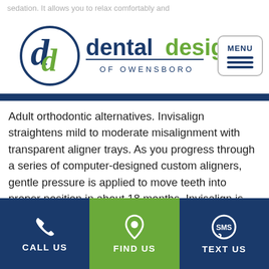sedation. It allows you to relax comfortably and
[Figure (logo): Dental Designs of Owensboro logo with circular DD emblem in blue and green, and MENU hamburger button]
Adult orthodontic alternatives. Invisalign straightens mild to moderate misalignment with transparent aligner trays. As you progress through a series of computer-designed custom aligners, gentle pressure is applied to move teeth into proper position in about 18 months. Invisalign is removable, so you are able to eat a nutritious diet and keep teeth clean while you straighten.
CALL US
FIND US
TEXT US